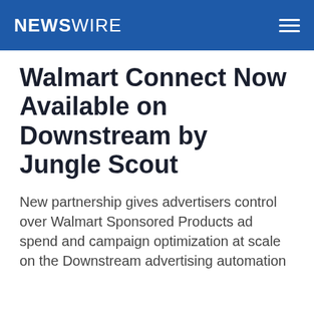NEWSWIRE
Walmart Connect Now Available on Downstream by Jungle Scout
New partnership gives advertisers control over Walmart Sponsored Products ad spend and campaign optimization at scale on the Downstream advertising automation